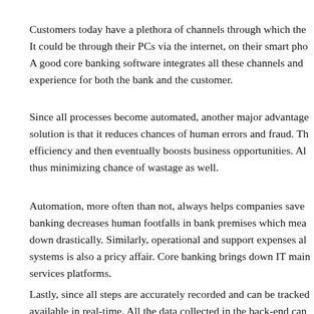Customers today have a plethora of channels through which the It could be through their PCs via the internet, on their smart pho A good core banking software integrates all these channels and experience for both the bank and the customer.
Since all processes become automated, another major advantage solution is that it reduces chances of human errors and fraud. Th efficiency and then eventually boosts business opportunities. Al thus minimizing chance of wastage as well.
Automation, more often than not, always helps companies save banking decreases human footfalls in bank premises which mea down drastically. Similarly, operational and support expenses al systems is also a pricy affair. Core banking brings down IT main services platforms.
Lastly, since all steps are accurately recorded and can be tracked available in real-time. All the data collected in the back-end can